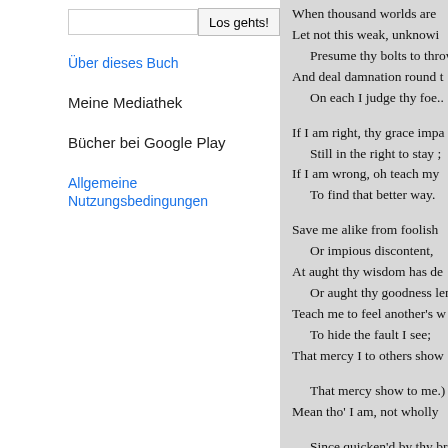Los gehts! (search button)
Über dieses Buch
Meine Mediathek
Bücher bei Google Play
Allgemeine Nutzungsbedingungen
When thousand worlds are
Let not this weak, unknowi
Presume thy bolts to throw
And deal damnation round t
On each I judge thy foe..

If I am right, thy grace imp
Still in the right to stay ;
If I am wrong, oh teach my
To find that better way.

Save me alike from foolish
Or impious discontent,
At aught thy wisdom has de
Or aught thy goodness len
Teach me to feel another's w
To hide the fault I see;
That mercy I to others show

That mercy show to me.)
Mean tho' I am, not wholly

Since quicken'd by thy bre
O lead me a cheerreier b